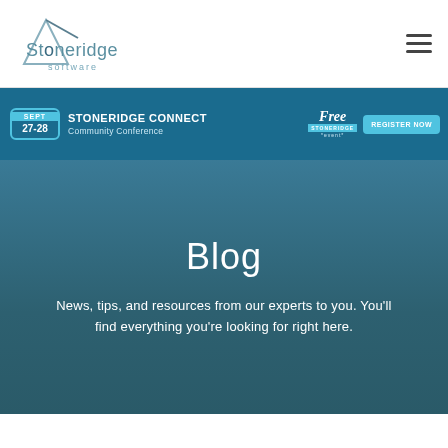[Figure (logo): Stoneridge Software logo with stylized geometric mark and company name]
[Figure (infographic): Stoneridge Connect Community Conference banner: Sept 27-28, Free Stoneridge event, Register Now button]
Blog
News, tips, and resources from our experts to you. You’ll find everything you’re looking for right here.